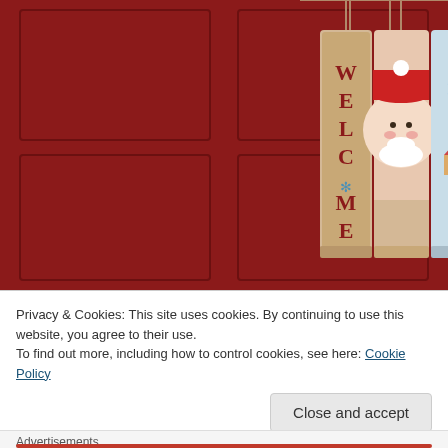[Figure (photo): A red front door with Christmas/holiday welcome signs hanging on it. Three vertical wooden signs hang from a rope - one reads 'WELCOME' vertically, the others feature Santa Claus and snowflake/winter holiday imagery.]
Privacy & Cookies: This site uses cookies. By continuing to use this website, you agree to their use.
To find out more, including how to control cookies, see here: Cookie Policy
Close and accept
Advertisements